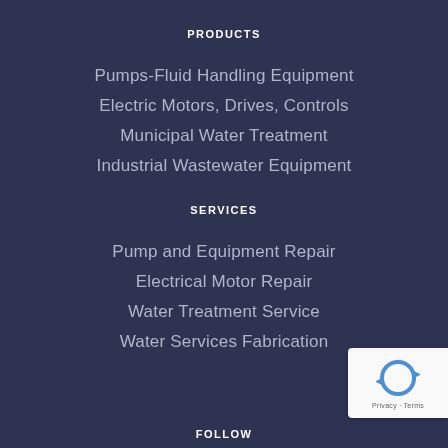PRODUCTS
Pumps-Fluid Handling Equipment
Electric Motors, Drives, Controls
Municipal Water Treatment
Industrial Wastewater Equipment
SERVICES
Pump and Equipment Repair
Electrical Motor Repair
Water Treatment Service
Water Services Fabrication
[Figure (logo): reCAPTCHA badge with Privacy and Terms text]
FOLLOW